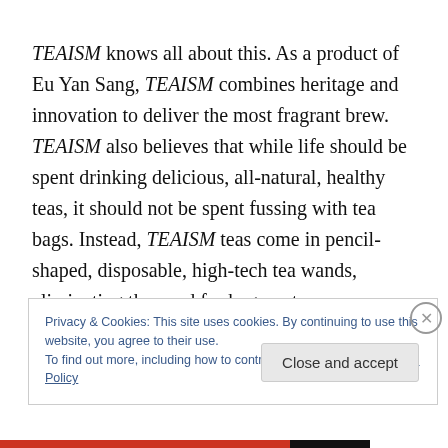TEAISM knows all about this. As a product of Eu Yan Sang, TEAISM combines heritage and innovation to deliver the most fragrant brew. TEAISM also believes that while life should be spent drinking delicious, all-natural, healthy teas, it should not be spent fussing with tea bags. Instead, TEAISM teas come in pencil-shaped, disposable, high-tech tea wands, eliminating the need for bags or teaspoons, because who has time for those? Each
Privacy & Cookies: This site uses cookies. By continuing to use this website, you agree to their use.
To find out more, including how to control cookies, see here: Cookie Policy
Close and accept